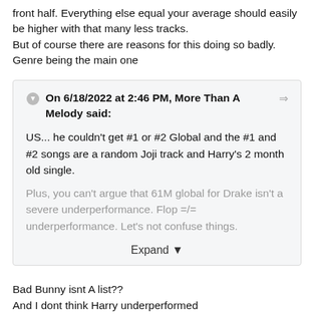front half. Everything else equal your average should easily be higher with that many less tracks.
But of course there are reasons for this doing so badly. Genre being the main one
On 6/18/2022 at 2:46 PM, More Than A Melody said:

US... he couldn't get #1 or #2 Global and the #1 and #2 songs are a random Joji track and Harry's 2 month old single.

Plus, you can't argue that 61M global for Drake isn't a severe underperformance. Flop =/= underperformance. Let's not confuse things.

Expand
Bad Bunny isnt A list??
And I dont think Harry underperformed